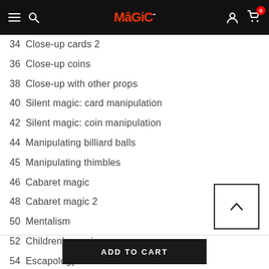Magic shop navigation bar with logo, search, account and cart (0 items)
34 Close-up cards 2
36 Close-up coins
38 Close-up with other props
40 Silent magic: card manipulation
42 Silent magic: coin manipulation
44 Manipulating billiard balls
45 Manipulating thimbles
46 Cabaret magic
48 Cabaret magic 2
50 Mentalism
52 Children’s magic
54 Escapology
55 Illusions
56 Quick effects